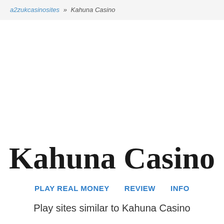a2zukcasinosites » Kahuna Casino
Kahuna Casino
PLAY REAL MONEY   REVIEW   INFO
Play sites similar to Kahuna Casino